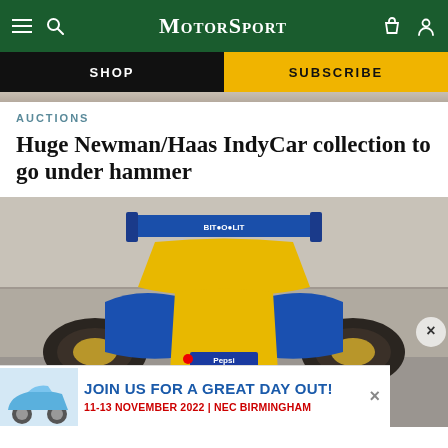MotorSport
SHOP | SUBSCRIBE
[Figure (screenshot): Partial top image strip of a car or racetrack, cropped and partially visible]
AUCTIONS
Huge Newman/Haas IndyCar collection to go under hammer
[Figure (photo): Front-facing view of a blue and yellow IndyCar/Formula racing car on a track, with Pepsi, Mobil and other sponsor logos visible. Blue rear wing reads 'Bitoy'. Concrete wall in background.]
JOIN US FOR A GREAT DAY OUT! 11-13 NOVEMBER 2022 | NEC BIRMINGHAM